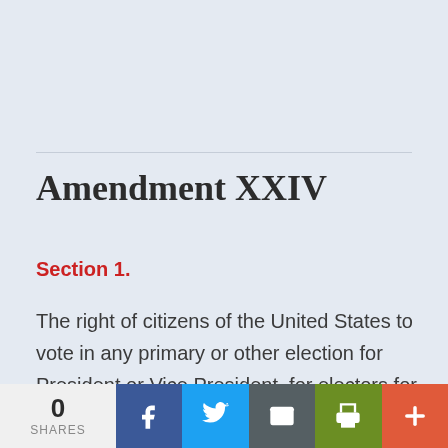Amendment XXIV
Section 1.
The right of citizens of the United States to vote in any primary or other election for President or Vice President, for electors for President or Vice President, or for Senator
0 SHARES | Facebook | Twitter | Email | Print | More